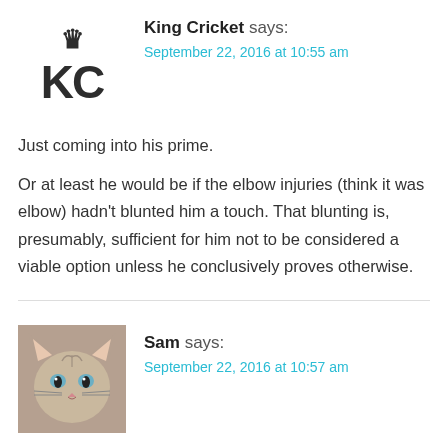King Cricket says: September 22, 2016 at 10:55 am
Just coming into his prime.
Or at least he would be if the elbow injuries (think it was elbow) hadn't blunted him a touch. That blunting is, presumably, sufficient for him not to be considered a viable option unless he conclusively proves otherwise.
Sam says: September 22, 2016 at 10:57 am
I am the same age as Tim Bresnan. I, too, continue to be cruelly overlooked by the